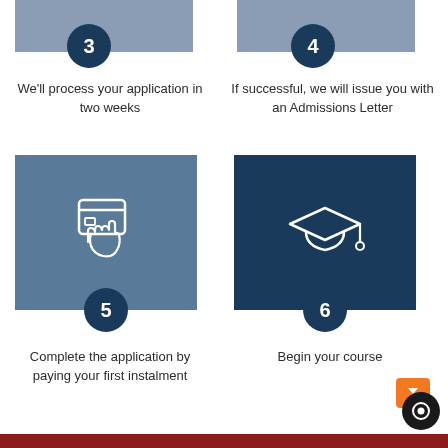[Figure (infographic): Step 3 circle badge with number 3 in dark navy blue circle, above a grey cropped image box]
[Figure (infographic): Step 4 circle badge with number 4 in dark navy blue circle, above a grey cropped image box]
We'll process your application in two weeks
If successful, we will issue you with an Admissions Letter
[Figure (illustration): Step 5 — blue-grey square box containing white outline icon of a hand holding a credit card, with dark navy circle badge showing number 5]
[Figure (illustration): Step 6 — dark navy square box containing white outline icon of a graduation cap, with dark navy circle badge showing number 6]
Complete the application by paying your first instalment
Begin your course